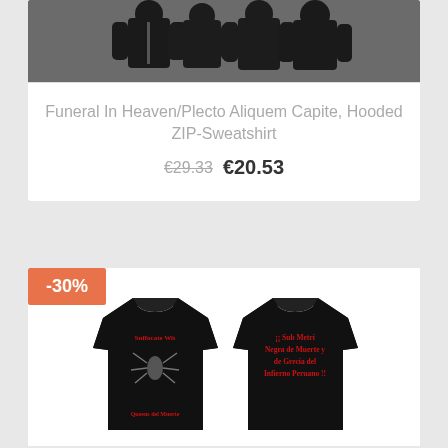[Figure (photo): Top portion of a product card showing black hooded zip sweatshirts on a gray background]
Funeral In Heaven/Plecto Aliquem Capite, Hooded ZIP-Sweatshirt
€29.33 €20.53
-30%
[Figure (photo): Front and back view of a black long-sleeve shirt with red gothic text and illustration. Front shows band logo and skeleton/spider artwork with 'Queens del Muerte' text. Back shows gothic red text reading '¡¡ Sub Metri Negra de Muerte y de Grecia del Infierno Peruano !!']